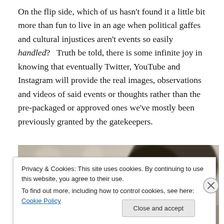On the flip side, which of us hasn't found it a little bit more than fun to live in an age when political gaffes and cultural injustices aren't events so easily handled?   Truth be told, there is some infinite joy in knowing that eventually Twitter, YouTube and Instagram will provide the real images, observations and videos of said events or thoughts rather than the pre-packaged or approved ones we've mostly been previously granted by the gatekeepers.
[Figure (photo): A blurred photo of a woman with dark hair, outdoors with a soft bokeh background.]
Privacy & Cookies: This site uses cookies. By continuing to use this website, you agree to their use.
To find out more, including how to control cookies, see here: Cookie Policy
Close and accept